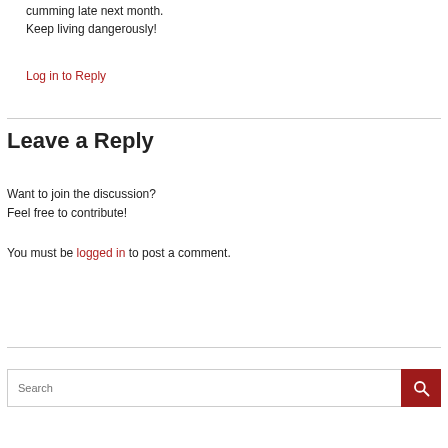cumming late next month.
Keep living dangerously!
Log in to Reply
Leave a Reply
Want to join the discussion?
Feel free to contribute!
You must be logged in to post a comment.